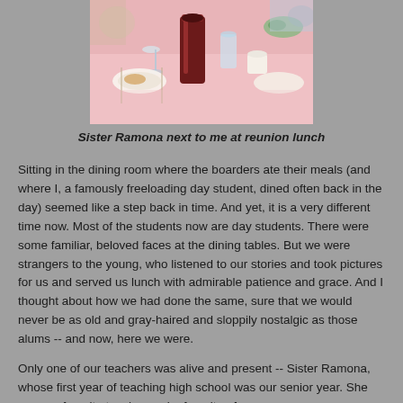[Figure (photo): Photo of a dining table set for a meal with glasses, dishes, and a red/dark beverage in a tall glass on a pink tablecloth]
Sister Ramona next to me at reunion lunch
Sitting in the dining room where the boarders ate their meals (and where I, a famously freeloading day student, dined often back in the day) seemed like a step back in time. And yet, it is a very different time now. Most of the students now are day students. There were some familiar, beloved faces at the dining tables. But we were strangers to the young, who listened to our stories and took pictures for us and served us lunch with admirable patience and grace. And I thought about how we had done the same, sure that we would never be as old and gray-haired and sloppily nostalgic as those alums -- and now, here we were.
Only one of our teachers was alive and present -- Sister Ramona, whose first year of teaching high school was our senior year. She was my favorite teacher and a favorite of